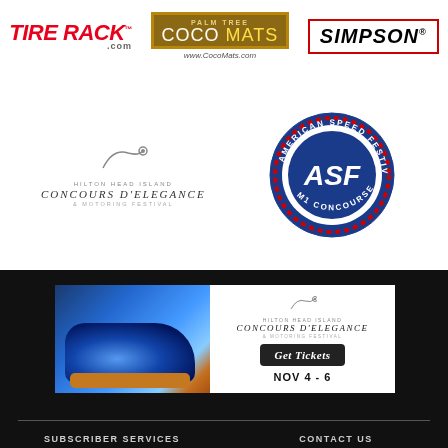[Figure (logo): Tire Rack .com logo in red italic bold text]
[Figure (logo): Palm Tree Coco Mats logo with gold border and www.CocoMats.com URL]
[Figure (logo): Simpson logo in red bordered rectangle with italic bold text]
[Figure (logo): Hilton Head Island Concours d'Elegance & Motoring Festival logo with swoosh]
[Figure (logo): American Speed Festival ASF M1 Concourse circular seal logo in blue and red]
[Figure (illustration): Advertisement banner: Blue vintage car photo on left, Hilton Head Island Concours d'Elegance logo with Get Tickets button and NOV 4-6 date on right]
SUBSCRIBER SERVICES
CONTACT US